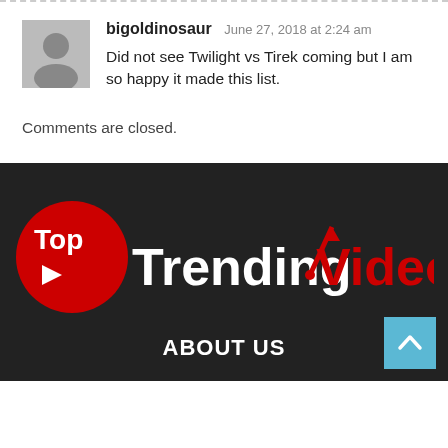bigoldinosaur June 27, 2018 at 2:24 am
Did not see Twilight vs Tirek coming but I am so happy it made this list.
Comments are closed.
[Figure (logo): TopTrending.Video logo: red circle with white 'Top' and play icon, followed by 'Trending.Video' in white and red with upward arrow]
ABOUT US